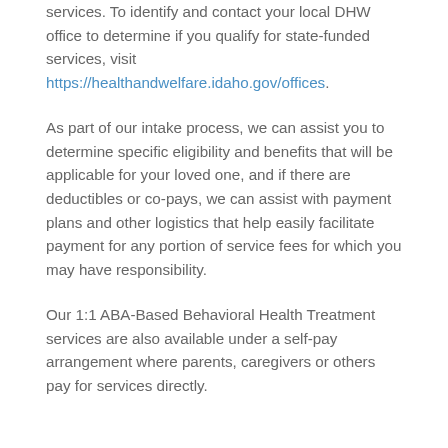services. To identify and contact your local DHW office to determine if you qualify for state-funded services, visit https://healthandwelfare.idaho.gov/offices.
As part of our intake process, we can assist you to determine specific eligibility and benefits that will be applicable for your loved one, and if there are deductibles or co-pays, we can assist with payment plans and other logistics that help easily facilitate payment for any portion of service fees for which you may have responsibility.
Our 1:1 ABA-Based Behavioral Health Treatment services are also available under a self-pay arrangement where parents, caregivers or others pay for services directly.